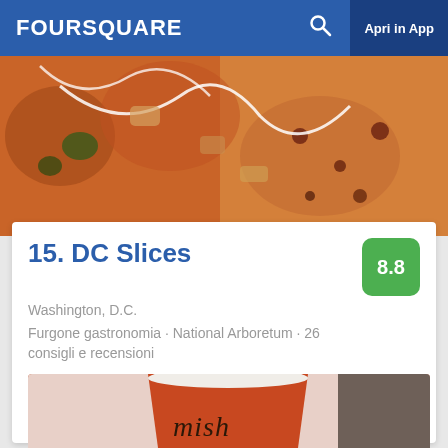FOURSQUARE  🔍  Apri in App
[Figure (photo): Close-up photo of assorted pizza slices with white drizzle sauce on top, showing various toppings including buffalo chicken]
15. DC Slices
Washington, D.C.
Furgone gastronomia · National Arboretum · 26 consigli e recensioni
Rachel L: The buffalo chicken slice is fantastic.
[Figure (photo): Photo of an orange cup with 'misha' branding, showing a latte or coffee drink, placed on a marble surface]